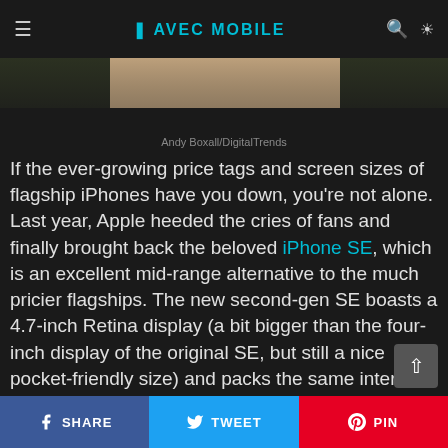≡  AVEC MOBILE  🔍 ☀
[Figure (photo): Partial photo of a person holding a smartphone, showing a close-up of a hand. Dark background.]
Andy Boxall/DigitalTrends
If the ever-growing price tags and screen sizes of flagship iPhones have you down, you're not alone. Last year, Apple heeded the cries of fans and finally brought back the beloved iPhone SE, which is an excellent mid-range alternative to the much pricier flagships. The new second-gen SE boasts a 4.7-inch Retina display (a bit bigger than the four-inch display of the original SE, but still a nice pocket-friendly size) and packs the same internal processor as the much more
SHARE  TWEET  PIN